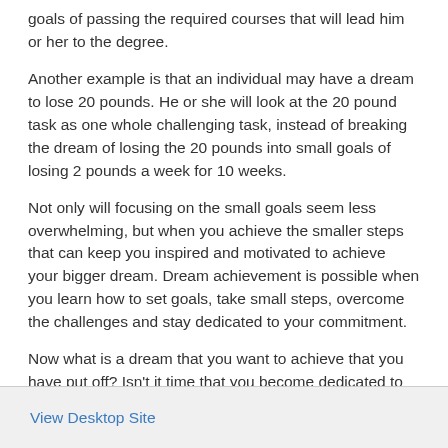goals of passing the required courses that will lead him or her to the degree.
Another example is that an individual may have a dream to lose 20 pounds. He or she will look at the 20 pound task as one whole challenging task, instead of breaking the dream of losing the 20 pounds into small goals of losing 2 pounds a week for 10 weeks.
Not only will focusing on the small goals seem less overwhelming, but when you achieve the smaller steps that can keep you inspired and motivated to achieve your bigger dream. Dream achievement is possible when you learn how to set goals, take small steps, overcome the challenges and stay dedicated to your commitment.
Now what is a dream that you want to achieve that you have put off? Isn't it time that you become dedicated to work on your dream? If you are reading this article then it is not too late. Make today one of your best days ever by deciding to pursue and achieve your dreams. Just imagine how amazing you will feel when you can look back upon your life and say "I achieved my dreams!"
View Desktop Site